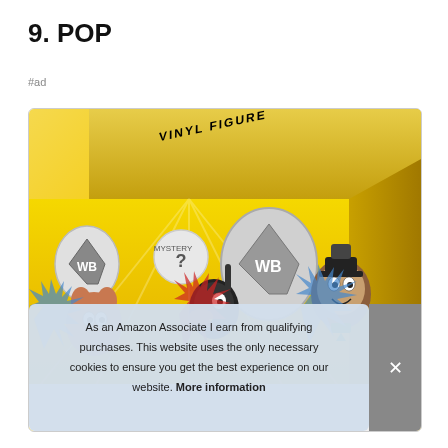9. POP
#ad
[Figure (photo): Funko Mystery Minis Warner Bros vinyl figure yellow box with WB shield logos, Daffy Duck, Jerry Mouse, and Yogi Bear characters on the side. A cookie consent banner overlays the bottom portion of the image with text: As an Amazon Associate I earn from qualifying purchases. This website uses the only necessary cookies to ensure you get the best experience on our website. More information. There is an X close button on the right.]
As an Amazon Associate I earn from qualifying purchases. This website uses the only necessary cookies to ensure you get the best experience on our website. More information